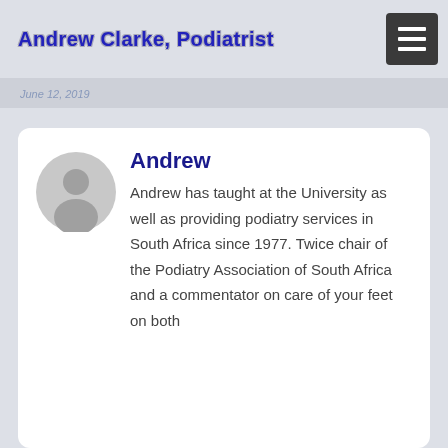Andrew Clarke, Podiatrist
June 12, 2019
Andrew
Andrew has taught at the University as well as providing podiatry services in South Africa since 1977. Twice chair of the Podiatry Association of South Africa and a commentator on care of your feet on both